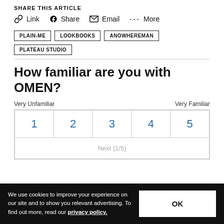SHARE THIS ARTICLE
Link  Share  Email  More
PLAIN-ME
LOOKBOOKS
ANOWHEREMAN
PLATEAU STUDIO
How familiar are you with OMEN?
Very Unfamiliar   Very Familiar
| 1 | 2 | 3 | 4 | 5 |
| --- | --- | --- | --- | --- |
| Next (1/5) |
We use cookies to improve your experience on our site and to show you relevant advertising. To find out more, read our privacy policy.